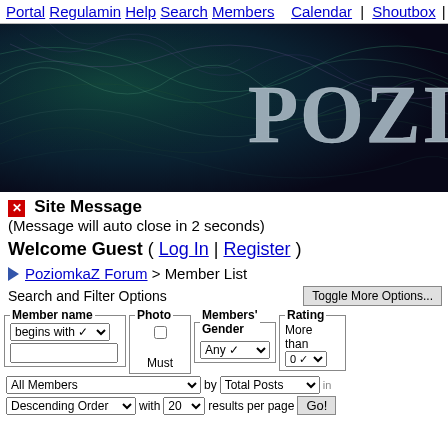Portal Regulamin Help Search Members  Calendar | Shoutbox |
[Figure (illustration): Dark teal/purple abstract background with glowing fiber-like tendrils and the text 'POZIOM' in large silver metallic letters on the right side]
Site Message
(Message will auto close in 2 seconds)
Welcome Guest ( Log In | Register )
PoziomkaZ Forum > Member List
Search and Filter Options
Toggle More Options...
Member name: begins with [dropdown] [text input] | Photo: [checkbox] Must | Members' Gender: Any [dropdown] | Rating: More than 0
All Members [dropdown] by Total Posts [dropdown] in [input]
Descending Order [dropdown] with 20 [dropdown] results per page  Go!